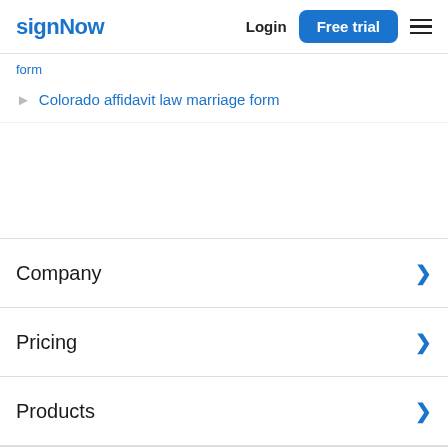signNow | Login | Free trial
form
Colorado affidavit law marriage form
Company
Pricing
Products